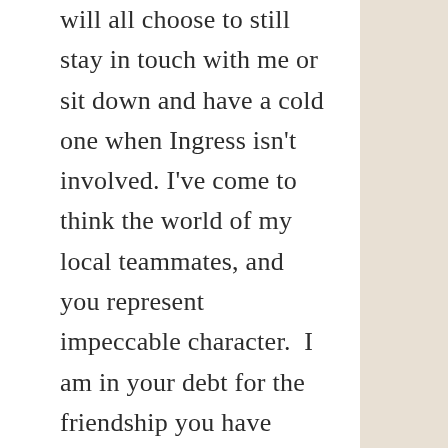will all choose to still stay in touch with me or sit down and have a cold one when Ingress isn't involved. I've come to think the world of my local teammates, and you represent impeccable character.  I am in your debt for the friendship you have brought into my